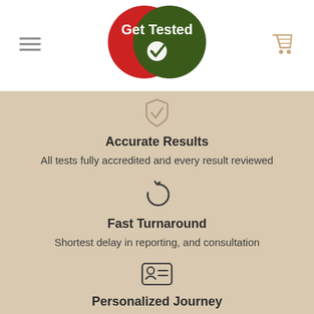[Figure (logo): Get Tested logo with red and dark green overlapping circles and a white checkmark, plus hamburger menu and cart icon]
[Figure (illustration): Badge/shield checkmark icon in tan/beige color]
Accurate Results
All tests fully accredited and every result reviewed
[Figure (illustration): Circular refresh/turnaround arrow icon]
Fast Turnaround
Shortest delay in reporting, and consultation
[Figure (illustration): ID card / profile card icon]
Personalized Journey
Advice that fits your specific needs and...